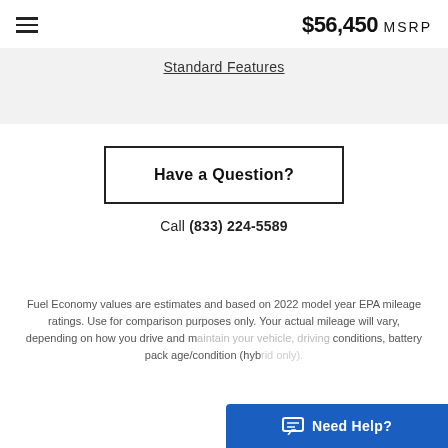$56,450 MSRP
Standard Features
Have a Question?
Call (833) 224-5589
Fuel Economy values are estimates and based on 2022 model year EPA mileage ratings. Use for comparison purposes only. Your actual mileage will vary, depending on how you drive and maintain your vehicle, driving conditions, battery pack age/condition (hyb...